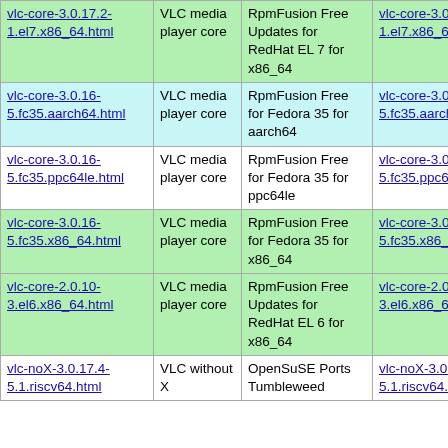| Name | Description | Repository | Download |
| --- | --- | --- | --- |
| vlc-core-3.0.17.2-1.el7.x86_64.html | VLC media player core | RpmFusion Free Updates for RedHat EL 7 for x86_64 | vlc-core-3.0.17.2-1.el7.x86_64.rpm |
| vlc-core-3.0.16-5.fc35.aarch64.html | VLC media player core | RpmFusion Free for Fedora 35 for aarch64 | vlc-core-3.0.16-5.fc35.aarch64.rpm |
| vlc-core-3.0.16-5.fc35.ppc64le.html | VLC media player core | RpmFusion Free for Fedora 35 for ppc64le | vlc-core-3.0.16-5.fc35.ppc64le.rpm |
| vlc-core-3.0.16-5.fc35.x86_64.html | VLC media player core | RpmFusion Free for Fedora 35 for x86_64 | vlc-core-3.0.16-5.fc35.x86_64.rpm |
| vlc-core-2.0.10-3.el6.x86_64.html | VLC media player core | RpmFusion Free Updates for RedHat EL 6 for x86_64 | vlc-core-2.0.10-3.el6.x86_64.rpm |
| vlc-noX-3.0.17.4-5.1.riscv64.html | VLC without X | OpenSuSE Ports Tumbleweed | vlc-noX-3.0.1... 5.1.riscv64.rpm |